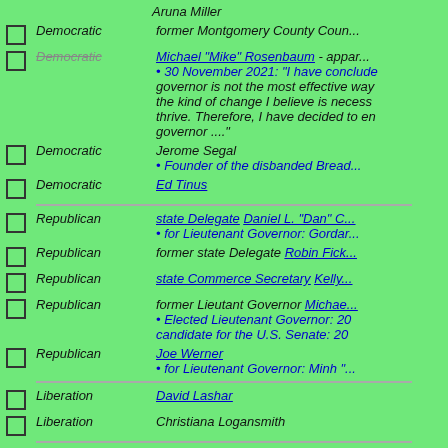Aruna Miller
Democratic — former Montgomery County Coun...
Democratic (strikethrough) — Michael "Mike" Rosenbaum - appar... • 30 November 2021: "I have conclude governor is not the most effective way the kind of change I believe is necess thrive. Therefore, I have decided to en governor ...."
Democratic — Jerome Segal • Founder of the disbanded Bread...
Democratic — Ed Tinus
Republican — state Delegate Daniel L. "Dan" C... • for Lieutenant Governor: Gordar...
Republican — former state Delegate Robin Fick...
Republican — state Commerce Secretary Kelly...
Republican — former Lieutant Governor Michae... • Elected Lieutenant Governor: 20 candidate for the U.S. Senate: 20
Republican — Joe Werner • for Lieutenant Governor: Minh "...
Liberation — David Lashar
Liberation — Christiana Logansmith
Unaffiliated — Kyle Sefcik • for Lieutenant Governor: Katie L...